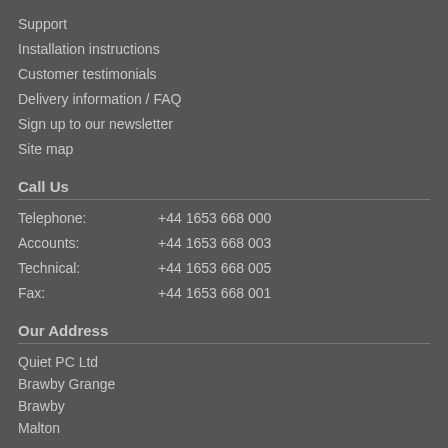Support
Installation instructions
Customer testimonials
Delivery information / FAQ
Sign up to our newsletter
Site map
Call Us
Telephone: +44 1653 668 000
Accounts: +44 1653 668 003
Technical: +44 1653 668 005
Fax: +44 1653 668 001
Our Address
Quiet PC Ltd
Brawby Grange
Brawby
Malton